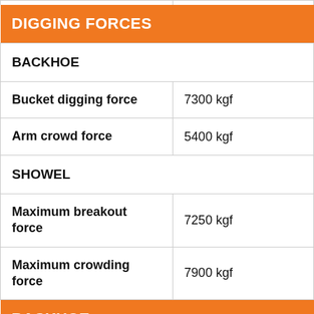|  |  |
| --- | --- |
| DIGGING FORCES |  |
| BACKHOE |  |
| Bucket digging force | 7300 kgf |
| Arm crowd force | 5400 kgf |
| SHOWEL |  |
| Maximum breakout force | 7250 kgf |
| Maximum crowding force | 7900 kgf |
| BACKHOE |  |